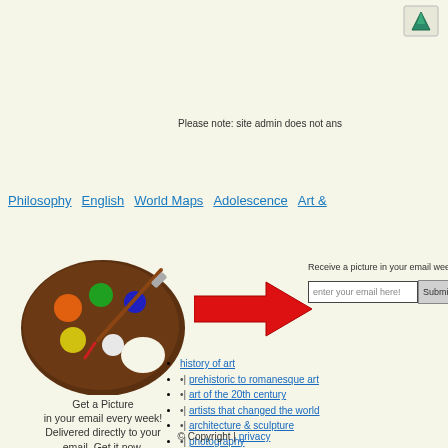[Figure (illustration): Small teal/green icon in top right corner]
Please note: site admin does not ans
Philosophy  English  World Maps  Adolescence  Art &
[Figure (illustration): Artist palette with paint brush icon]
Get a Picture
in your email every week!
Delivered directly to your email. Get it now.
[Figure (illustration): Red right-pointing arrow]
Receive a picture in your email weekly!
history of art
•| prehistoric to romanesque art
•| art of the 20th century
•| artists that changed the world
•| architecture & sculpture
•| photography
•| classical music
© Copyright | privacy